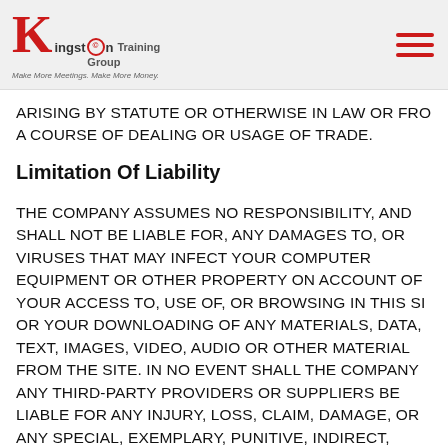Kingston Training Group — Make More Meetings. Make More Money.
ARISING BY STATUTE OR OTHERWISE IN LAW OR FROM A COURSE OF DEALING OR USAGE OF TRADE.
Limitation Of Liability
THE COMPANY ASSUMES NO RESPONSIBILITY, AND SHALL NOT BE LIABLE FOR, ANY DAMAGES TO, OR VIRUSES THAT MAY INFECT YOUR COMPUTER EQUIPMENT OR OTHER PROPERTY ON ACCOUNT OF YOUR ACCESS TO, USE OF, OR BROWSING IN THIS SITE, OR YOUR DOWNLOADING OF ANY MATERIALS, DATA, TEXT, IMAGES, VIDEO, AUDIO OR OTHER MATERIAL FROM THE SITE. IN NO EVENT SHALL THE COMPANY ANY THIRD-PARTY PROVIDERS OR SUPPLIERS BE LIABLE FOR ANY INJURY, LOSS, CLAIM, DAMAGE, OR ANY SPECIAL, EXEMPLARY, PUNITIVE, INDIRECT, INCIDENTAL OR CONSEQUENTIAL DAMAGES OF ANY